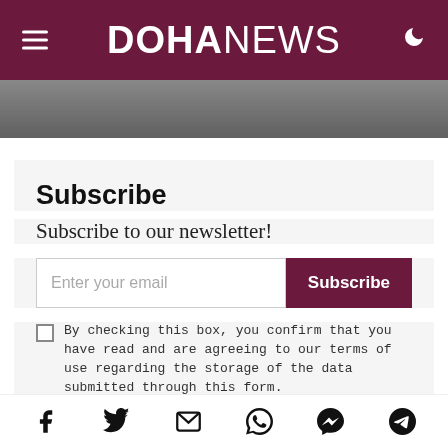DOHANEWS
Subscribe
Subscribe to our newsletter!
Enter your email
By checking this box, you confirm that you have read and are agreeing to our terms of use regarding the storage of the data submitted through this form.
Social share icons: Facebook, Twitter, Email, WhatsApp, Messenger, Telegram